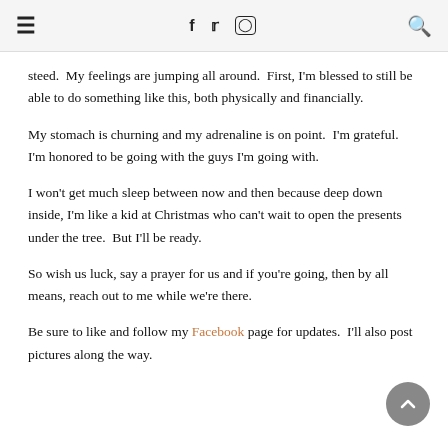≡  f  𝕏  ⊡  🔍
steed.  My feelings are jumping all around.  First, I'm blessed to still be able to do something like this, both physically and financially.
My stomach is churning and my adrenaline is on point.  I'm grateful.  I'm honored to be going with the guys I'm going with.
I won't get much sleep between now and then because deep down inside, I'm like a kid at Christmas who can't wait to open the presents under the tree.  But I'll be ready.
So wish us luck, say a prayer for us and if you're going, then by all means, reach out to me while we're there.
Be sure to like and follow my Facebook page for updates.  I'll also post pictures along the way.